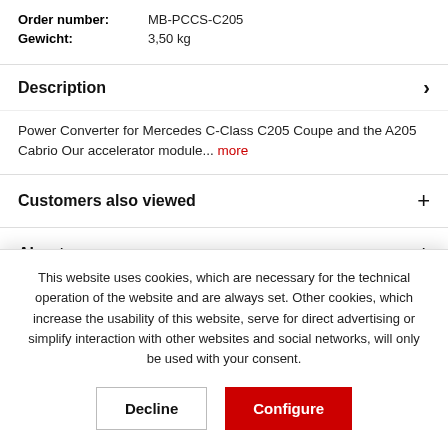| Order number: | MB-PCCS-C205 |
| Gewicht: | 3,50 kg |
Description
Power Converter for Mercedes C-Class C205 Coupe and the A205 Cabrio Our accelerator module... more
Customers also viewed
About us
This website uses cookies, which are necessary for the technical operation of the website and are always set. Other cookies, which increase the usability of this website, serve for direct advertising or simplify interaction with other websites and social networks, will only be used with your consent.
Decline | Configure